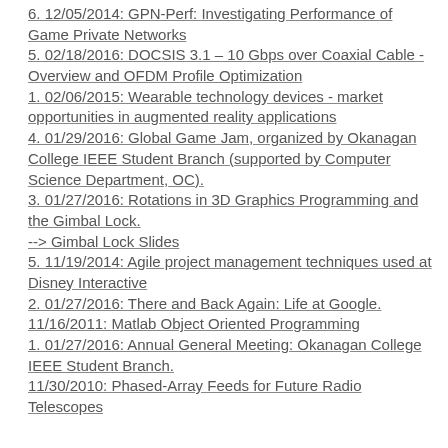6. 12/05/2014: GPN-Perf: Investigating Performance of Game Private Networks
5. 02/18/2016: DOCSIS 3.1 – 10 Gbps over Coaxial Cable - Overview and OFDM Profile Optimization
1. 02/06/2015: Wearable technology devices - market opportunities in augmented reality applications
4. 01/29/2016: Global Game Jam, organized by Okanagan College IEEE Student Branch (supported by Computer Science Department, OC).
3. 01/27/2016: Rotations in 3D Graphics Programming and the Gimbal Lock.
--> Gimbal Lock Slides
5. 11/19/2014: Agile project management techniques used at Disney Interactive
2. 01/27/2016: There and Back Again: Life at Google.
11/16/2011: Matlab Object Oriented Programming
1. 01/27/2016: Annual General Meeting: Okanagan College IEEE Student Branch.
11/30/2010: Phased-Array Feeds for Future Radio Telescopes